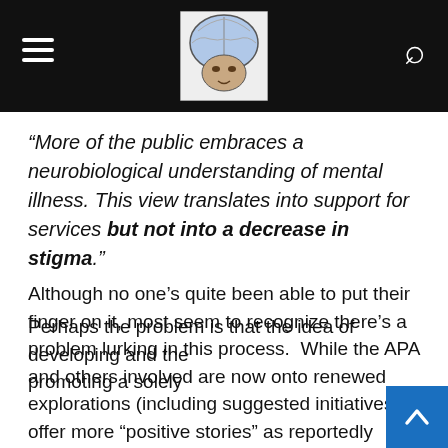Navigation header with hamburger menu, brain logo, and search icon
“More of the public embraces a neurobiological understanding of mental illness. This view translates into support for services but not into a decrease in stigma.”
Although no one’s quite been able to put their finger on it, most seem to recognize there’s a problem lurking in this process. While the APA and others involved are now onto renewed explorations (including suggested initiatives to offer more “positive stories” as reportedly proposed in an article titled ‘Stigma: Alive and Well’ and featured on the American Psychological Association’s website) in this hard-fought war on ‘stigma,’ I have another thought.
Perhaps the problem is that the idea of developing and the promoting a solely